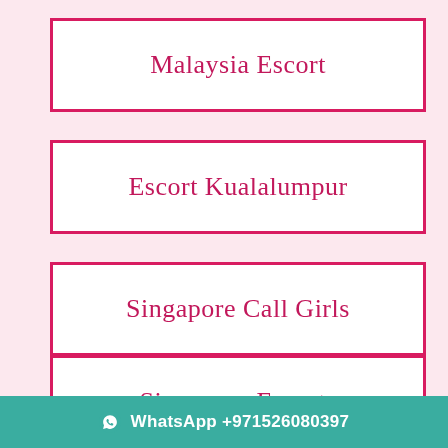Malaysia Escort
Escort Kualalumpur
Singapore Call Girls
Singapore Escorts
WhatsApp +971526080397
Kualalampur Escort